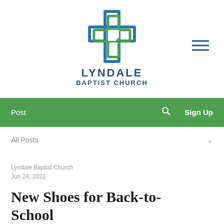[Figure (logo): Lyndale Baptist Church logo: a cross made of overlapping blue and green square outlines]
LYNDALE BAPTIST CHURCH
Post   🔍   Sign Up
All Posts
Lyndale Baptist Church
Jun 24, 2021
New Shoes for Back-to-School